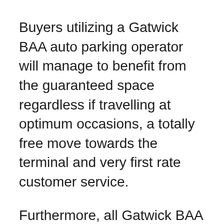Buyers utilizing a Gatwick BAA auto parking operator will manage to benefit from the guaranteed space regardless if travelling at optimum occasions, a totally free move towards the terminal and very first rate customer service.
Furthermore, all Gatwick BAA vehicle parking operators are focused on the More secure Parking Structure, which can be federal government reinforced and assessed with the law enforcement. BAA Gatwick auto parking fit everything in they are able to to deter legal